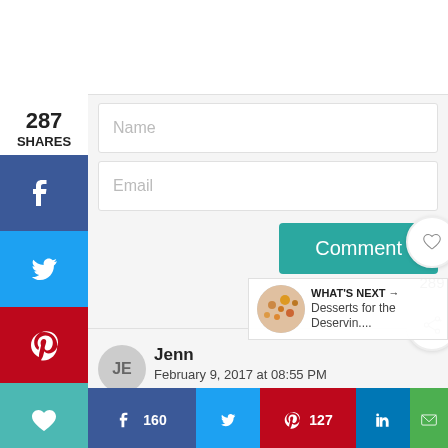287 SHARES
[Figure (screenshot): Social share sidebar with Facebook (blue), Twitter (cyan), Pinterest (red), and heart (teal) buttons]
Name
Email
Comment
289
Jenn
February 9, 2017 at 08:55 PM
WHAT'S NEXT → Desserts for the Deservin....
f 160
127
in